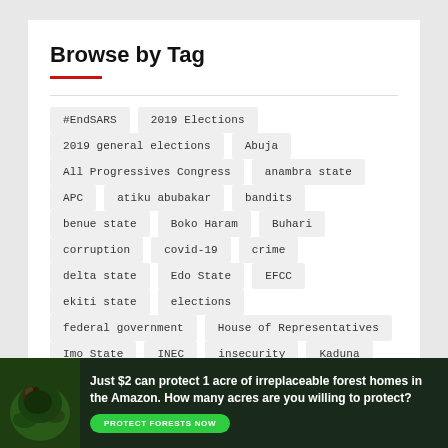Browse by Tag
#EndSARS
2019 Elections
2019 general elections
Abuja
All Progressives Congress
anambra state
APC
atiku abubakar
bandits
benue state
Boko Haram
Buhari
corruption
covid-19
crime
delta state
Edo State
EFCC
ekiti state
elections
federal government
House of Representatives
Imo State
INEC
insecurity
Kaduna
lagos
lagos state
[Figure (infographic): Advertisement banner: forest/jungle background with animal image. Text: 'Just $2 can protect 1 acre of irreplaceable forest homes in the Amazon. How many acres are you willing to protect?' with green 'PROTECT FORESTS NOW' button.]